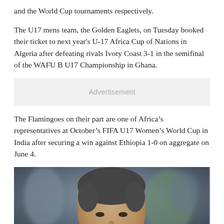and the World Cup tournaments respectively.
The U17 mens team, the Golden Eaglets, on Tuesday booked their ticket to next year's U-17 Africa Cup of Nations in Algeria after defeating rivals Ivory Coast 3-1 in the semifinal of the WAFU B U17 Championship in Ghana.
Advertisement
The Flamingoes on their part are one of Africa's representatives at October's FIFA U17 Women's World Cup in India after securing a win against Ethiopia 1-0 on aggregate on June 4.
[Figure (photo): Close-up photo of a man with dark grey hair, blurred background with other people visible]